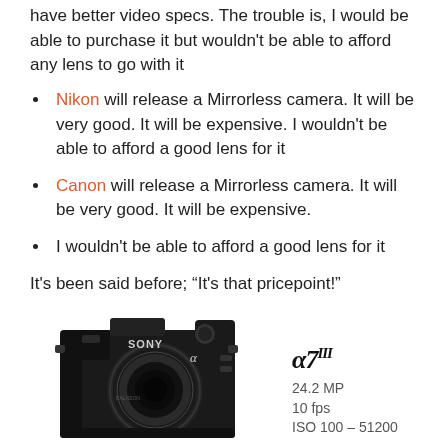have better video specs. The trouble is, I would be able to purchase it but wouldn't be able to afford any lens to go with it
Nikon will release a Mirrorless camera. It will be very good. It will be expensive. I wouldn't be able to afford a good lens for it
Canon will release a Mirrorless camera. It will be very good. It will be expensive.
I wouldn't be able to afford a good lens for it
It's been said before; “It's that pricepoint!”
[Figure (photo): Sony Alpha a7 III mirrorless camera with lens attached, shown from the front, with Sony branding visible. Beside it: model name alpha 7 III, specs 24.2 MP, 10 fps, ISO 100 - 51200]